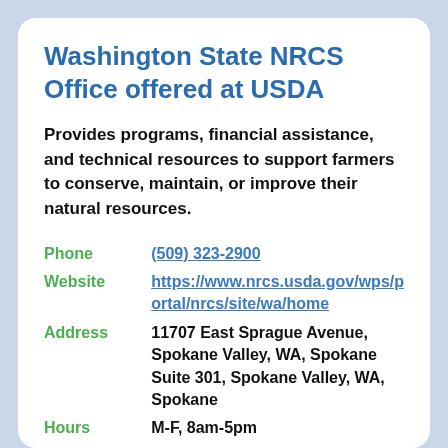Washington State NRCS Office offered at USDA
Provides programs, financial assistance, and technical resources to support farmers to conserve, maintain, or improve their natural resources.
| Field | Value |
| --- | --- |
| Phone | (509) 323-2900 |
| Website | https://www.nrcs.usda.gov/wps/portal/nrcs/site/wa/home |
| Address | 11707 East Sprague Avenue, Spokane Valley, WA, Spokane Suite 301, Spokane Valley, WA, Spokane |
| Hours | M-F, 8am-5pm |